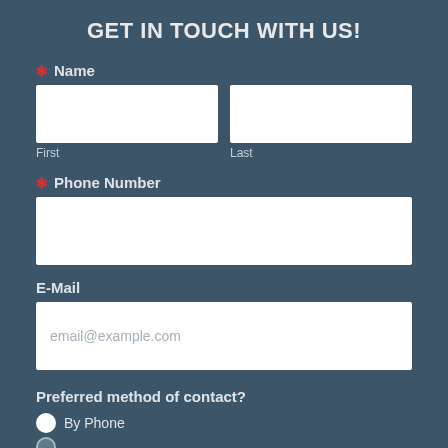GET IN TOUCH WITH US!
* Name
First
Last
* Phone Number
E-Mail
email@example.com
Preferred method of contact?
By Phone